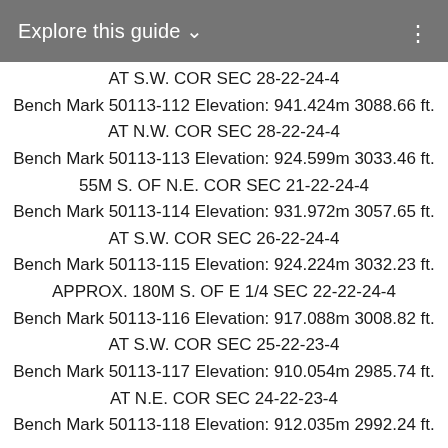Explore this guide ∨
AT S.W. COR SEC 28-22-24-4
Bench Mark 50113-112 Elevation: 941.424m 3088.66 ft.
AT N.W. COR SEC 28-22-24-4
Bench Mark 50113-113 Elevation: 924.599m 3033.46 ft.
55M S. OF N.E. COR SEC 21-22-24-4
Bench Mark 50113-114 Elevation: 931.972m 3057.65 ft.
AT S.W. COR SEC 26-22-24-4
Bench Mark 50113-115 Elevation: 924.224m 3032.23 ft.
APPROX. 180M S. OF E 1/4 SEC 22-22-24-4
Bench Mark 50113-116 Elevation: 917.088m 3008.82 ft.
AT S.W. COR SEC 25-22-23-4
Bench Mark 50113-117 Elevation: 910.054m 2985.74 ft.
AT N.E. COR SEC 24-22-23-4
Bench Mark 50113-118 Elevation: 912.035m 2992.24 ft.